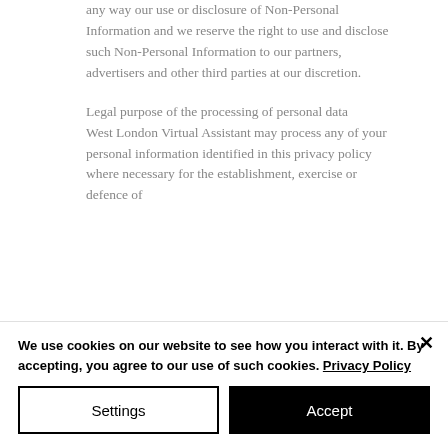any way our use or disclosure of Non-Personal Information and we reserve the right to use and disclose such Non-Personal Information to our partners, advertisers and other third parties at our discretion.
Legal purpose of the processing of personal data
West London Virtual Assistant may process any of your personal information identified in this privacy policy where necessary for the establishment, exercise or defence of
We use cookies on our website to see how you interact with it. By accepting, you agree to our use of such cookies. Privacy Policy
Settings
Accept